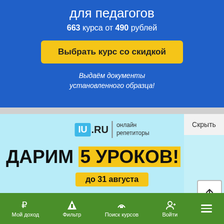для педагогов
663 курса от 490 рублей
Выбрать курс со скидкой
Выдаём документы установленного образца!
[Figure (screenshot): IU.RU онлайн репетиторы advertisement banner with text ДАРИМ 5 УРОКОВ! до 31 августа, Опытные онлайн-репетиторы]
Скрыть
IU .RU | онлайн репетиторы
ДАРИМ 5 УРОКОВ!
до 31 августа
Опытные онлайн-репетиторы
Мой доход   Фильтр   Поиск курсов   Войти